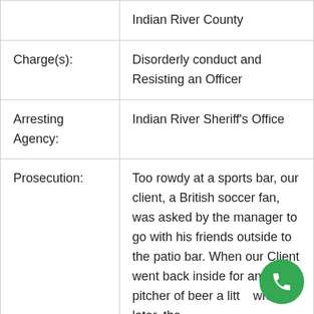|  | Indian River County |
| Charge(s): | Disorderly conduct and Resisting an Officer |
| Arresting Agency: | Indian River Sheriff's Office |
| Prosecution: | Too rowdy at a sports bar, our client, a British soccer fan, was asked by the manager to go with his friends outside to the patio bar. When our Client went back inside for another pitcher of beer a little while later, the |